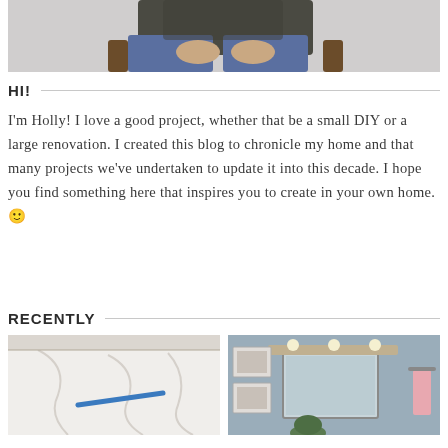[Figure (photo): Partial photo of a person sitting in a chair, wearing jeans and a dark jacket, with hands resting on lap. Gray background.]
HI!
I'm Holly! I love a good project, whether that be a small DIY or a large renovation. I created this blog to chronicle my home and that many projects we've undertaken to update it into this decade. I hope you find something here that inspires you to create in your own home. 🙂
RECENTLY
[Figure (photo): Photo showing what appears to be a white fabric or drop cloth with a blue tape/strap on a light background.]
[Figure (photo): Photo of a bathroom interior with a mirror, light fixture, framed pictures on the wall, and a pink hand towel.]